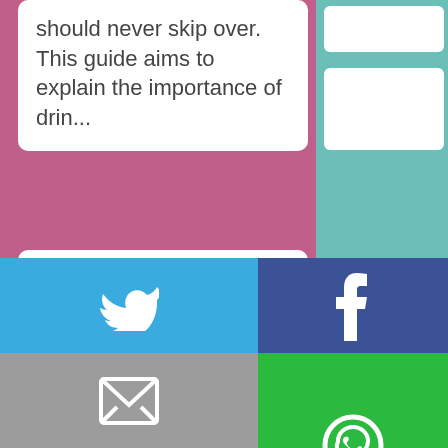should never skip over. This guide aims to explain the importance of drin...
[Figure (screenshot): Social media tiles grid showing Subscribe, Twitter, Facebook, Pinterest icons in teal tiles]
[Figure (infographic): Share bar with Twitter, Facebook, Email, WhatsApp, SMS and other sharing buttons]